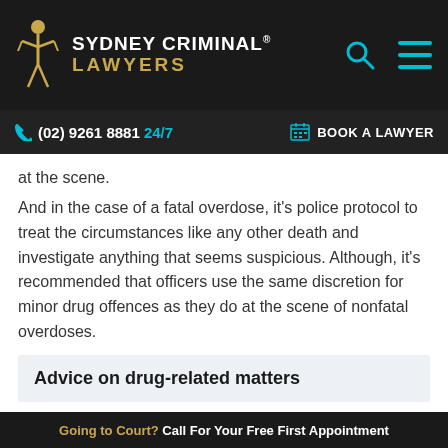SYDNEY CRIMINAL® LAWYERS
(02) 9261 8881 24/7 | BOOK A LAWYER
at the scene.
And in the case of a fatal overdose, it's police protocol to treat the circumstances like any other death and investigate anything that seems suspicious. Although, it's recommended that officers use the same discretion for minor drug offences as they do at the scene of nonfatal overdoses.
Advice on drug-related matters
There are also helplines available if there is a need to
Going to Court? Call For Your Free First Appointment